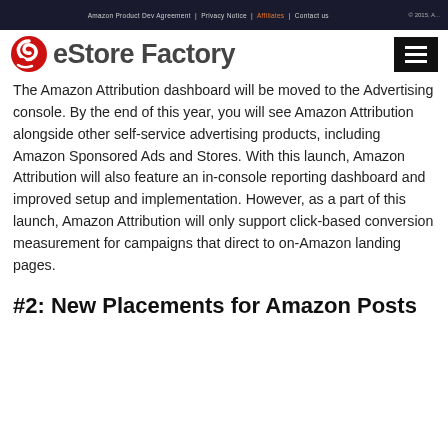eStore Factory — navigation bar
[Figure (logo): eStore Factory logo with red swirl icon and bold gray text]
The Amazon Attribution dashboard will be moved to the Advertising console. By the end of this year, you will see Amazon Attribution alongside other self-service advertising products, including Amazon Sponsored Ads and Stores. With this launch, Amazon Attribution will also feature an in-console reporting dashboard and improved setup and implementation. However, as a part of this launch, Amazon Attribution will only support click-based conversion measurement for campaigns that direct to on-Amazon landing pages.
#2: New Placements for Amazon Posts